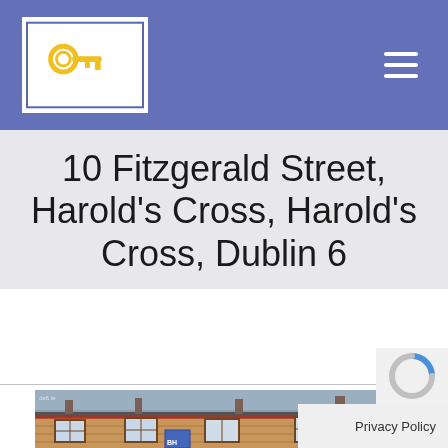[Figure (logo): Bohan Hyland and Associates logo — blue square border, yellow key graphic, bold white text BOHAN on top, HYLAND below, 'And Associates' in small text]
10 Fitzgerald Street, Harold's Cross, Harold's Cross, Dublin 6
[Figure (photo): Street-level photograph of a Victorian-era red brick terrace house row in Harold's Cross, Dublin. A Bohan Hyland estate agent sign is visible on the front.]
Privacy Policy